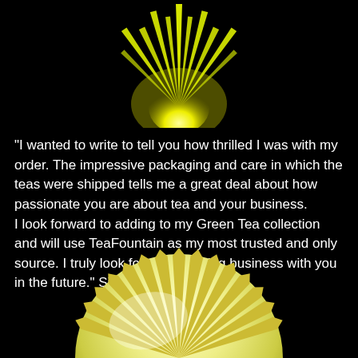[Figure (illustration): Yellow sun with sharp rays at the top center of a black background]
"I wanted to write to tell you how thrilled I was with my order. The impressive packaging and care in which the teas were shipped tells me a great deal about how passionate you are about tea and your business.
I look forward to adding to my Green Tea collection and will use TeaFountain as my most trusted and only source. I truly look forward to doing business with you in the future." Sincerely, J. G., Texas
[Figure (illustration): Yellow sun with jagged crown/gear-like rays at the bottom center of a black background]